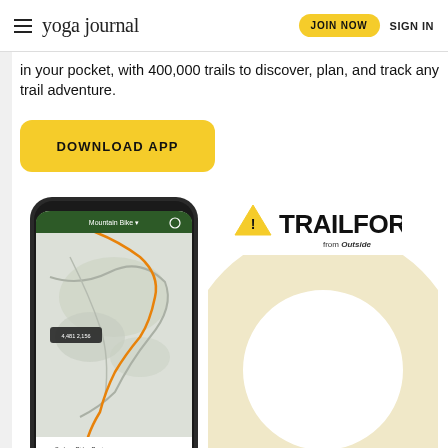yoga journal | JOIN NOW | SIGN IN
in your pocket, with 400,000 trails to discover, plan, and track any trail adventure.
DOWNLOAD APP
[Figure (screenshot): Trailforks app screenshot showing mountain bike trail map with orange route highlighted, and app statistics at bottom]
[Figure (logo): Trailforks logo with warning triangle icon and 'from Outside' tagline]